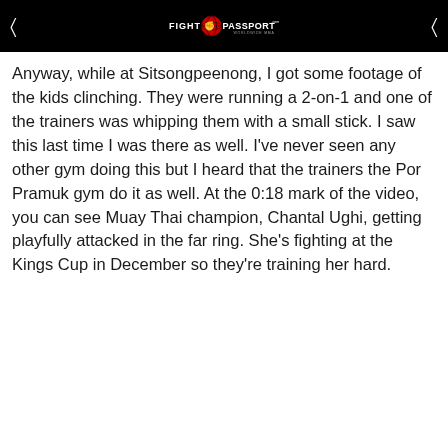FIGHT PASSPORT WORLDWIDE MMA
Anyway, while at Sitsongpeenong, I got some footage of the kids clinching. They were running a 2-on-1 and one of the trainers was whipping them with a small stick. I saw this last time I was there as well. I've never seen any other gym doing this but I heard that the trainers the Por Pramuk gym do it as well. At the 0:18 mark of the video, you can see Muay Thai champion, Chantal Ughi, getting playfully attacked in the far ring. She's fighting at the Kings Cup in December so they're training her hard.